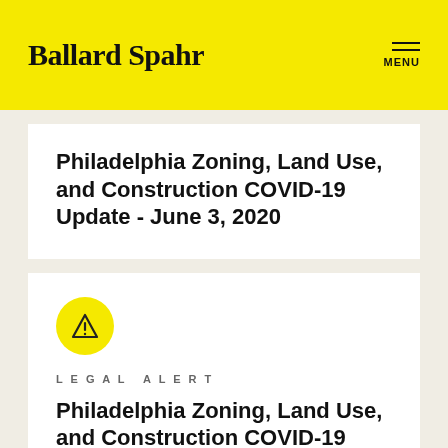Ballard Spahr
Philadelphia Zoning, Land Use, and Construction COVID-19 Update - June 3, 2020
[Figure (illustration): Yellow circular warning/alert icon with a triangle exclamation mark symbol]
LEGAL ALERT
Philadelphia Zoning, Land Use, and Construction COVID-19 Update - May 20, 2020